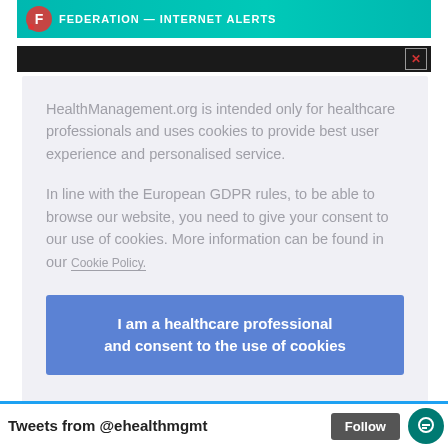[Figure (screenshot): Teal banner with logo text FEDERATION — INTERNET ALERTS at top]
[Figure (screenshot): Dark banner with close X button, second advertisement strip]
HealthManagement.org is intended only for healthcare professionals and uses cookies to provide best user experience and personalised service.
In line with the European GDPR rules, to be able to browse our website, you need to give your consent to our use of cookies. More information can be found in our Cookie Policy.
I am a healthcare professional and consent to the use of cookies
Tweets from @ehealthmgmt
Follow